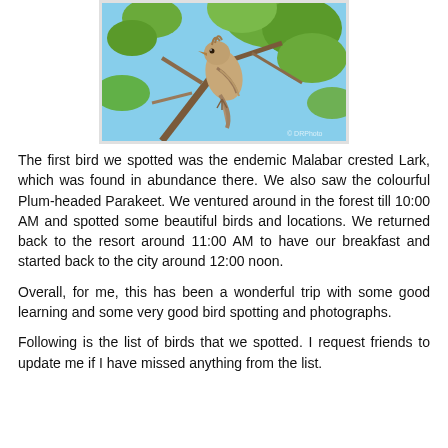[Figure (photo): A brown/tan bird (Malabar crested Lark) perched on a branch with green leaves and blue sky background.]
The first bird we spotted was the endemic Malabar crested Lark, which was found in abundance there. We also saw the colourful Plum-headed Parakeet. We ventured around in the forest till 10:00 AM and spotted some beautiful birds and locations. We returned back to the resort around 11:00 AM to have our breakfast and started back to the city around 12:00 noon.
Overall, for me, this has been a wonderful trip with some good learning and some very good bird spotting and photographs.
Following is the list of birds that we spotted. I request friends to update me if I have missed anything from the list.